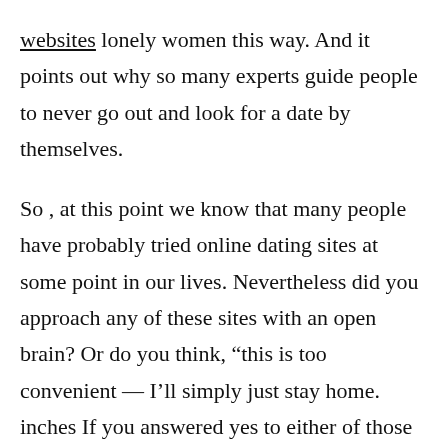websites lonely women this way. And it points out why so many experts guide people to never go out and look for a date by themselves.
So , at this point we know that many people have probably tried online dating sites at some point in our lives. Nevertheless did you approach any of these sites with an open brain? Or do you think, “this is too convenient — I’ll simply just stay home. inches If you answered yes to either of those questions, you might want to reconsider the approach to online dating.
In short, the best way to learn online dating sites facts are to approach that with an open head and to be honest with yourself about what you aspire to